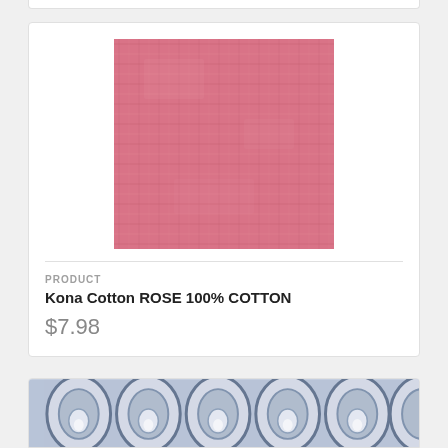[Figure (photo): Pink rose-colored woven cotton fabric swatch showing textile texture]
PRODUCT
Kona Cotton ROSE 100% COTTON
$7.98
[Figure (photo): Blue and white geometric ogee/lattice patterned fabric swatch]